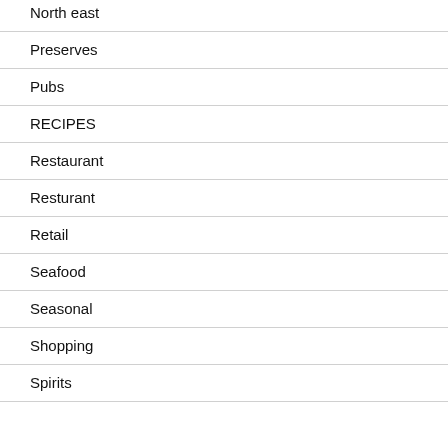North east
Preserves
Pubs
RECIPES
Restaurant
Resturant
Retail
Seafood
Seasonal
Shopping
Spirits